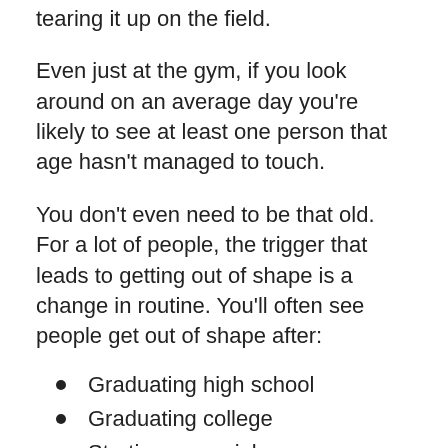tearing it up on the field.
Even just at the gym, if you look around on an average day you're likely to see at least one person that age hasn't managed to touch.
You don't even need to be that old. For a lot of people, the trigger that leads to getting out of shape is a change in routine. You'll often see people get out of shape after:
Graduating high school
Graduating college
Starting a new job
Moving to a new city